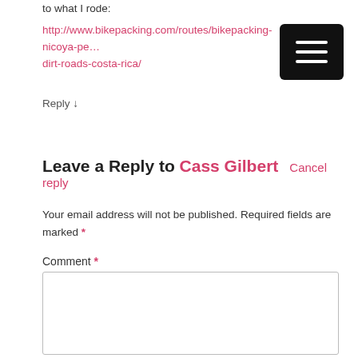to what I rode:
http://www.bikepacking.com/routes/bikepacking-nicoya-pe…dirt-roads-costa-rica/
Reply ↓
Leave a Reply to Cass Gilbert   Cancel reply
Your email address will not be published. Required fields are marked *
Comment *